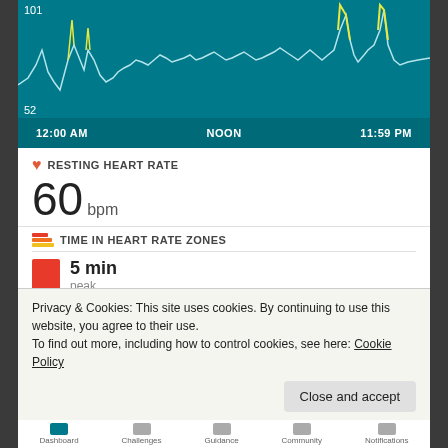[Figure (continuous-plot): Heart rate line chart over 24 hours on teal background. Y-axis labels: 101 (top), 52 (bottom). X-axis labels: 12:00 AM, NOON, 11:59 PM. White jagged line showing heart rate throughout day with yellow spikes indicating high-intensity periods.]
RESTING HEART RATE
60 bpm
TIME IN HEART RATE ZONES
5 min
peak
1 hr 9 min
cardio
1 hr 28 min
fat burn
Privacy & Cookies: This site uses cookies. By continuing to use this website, you agree to their use.
To find out more, including how to control cookies, see here: Cookie Policy
Close and accept